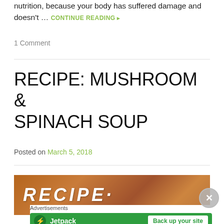nutrition, because your body has suffered damage and doesn't … CONTINUE READING ▸
1 Comment
RECIPE: MUSHROOM & SPINACH SOUP
Posted on March 5, 2018
[Figure (photo): Recipe image with text 'RECIPE·' overlaid on a wooden background, with a close button (X) overlay]
Advertisements
[Figure (screenshot): Jetpack advertisement banner with green background showing Jetpack logo, name, and 'Back up your site' button]